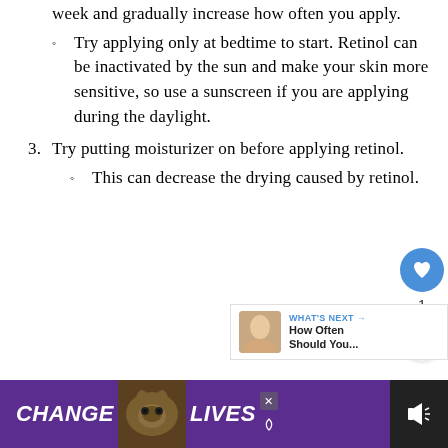week and gradually increase how often you apply.
Try applying only at bedtime to start. Retinol can be inactivated by the sun and make your skin more sensitive, so use a sunscreen if you are applying during the daylight.
3. Try putting moisturizer on before applying retinol.
This can decrease the drying caused by retinol.
[Figure (infographic): Social sharing UI: heart icon button (blue circle), count '1', share icon button]
[Figure (infographic): What's Next promo box with face photo and text 'WHAT'S NEXT → How Often Should You...']
[Figure (infographic): Ad banner: purple background with cat image, text 'CHANGE LIVES', close X button, muted speaker icon]